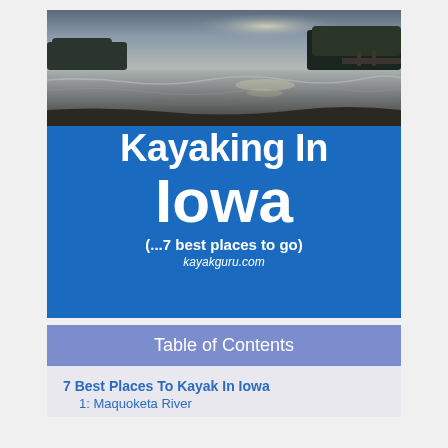[Figure (photo): Aerial or wide-angle photo of a lake or river at dusk/dawn with dramatic sky, reflections on water, and tree line in background]
Kayaking In Iowa
(...7 best places to go)
kayakguru.com
Table of Contents
7 Best Places To Kayak In Iowa
1: Maquoketa River